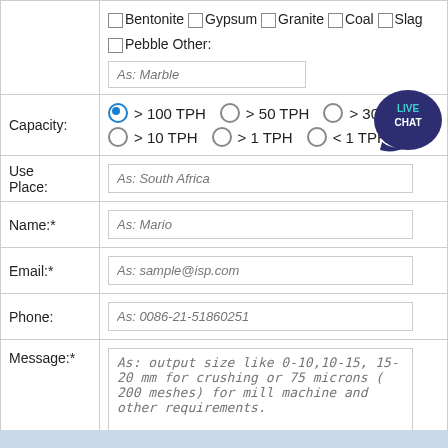| Field | Input |
| --- | --- |
|  | Bentonite  Gypsum  Granite  Coal  Slag  Pebble Other: As: Marble |
| Capacity: | > 100 TPH  > 50 TPH  > 30 TPH  > 10 TPH  > 1 TPH  < 1 TPH |
| Use Place: | As: South Africa |
| Name:* | As: Mario |
| Email:* | As: sample@isp.com |
| Phone: | As: 0086-21-51860251 |
| Message:* | As: output size like 0-10,10-15, 15-20 mm for crushing or 75 microns ( 200 meshes) for mill machine and other requirements. |
|  | Submit Now |
[Figure (other): Live Chat badge, circular dark blue icon with speech bubble and text LIVE CHAT]